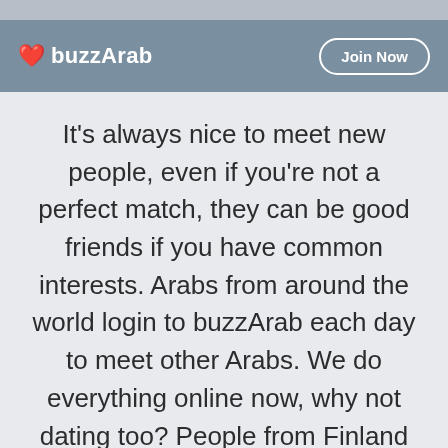buzzArab | Join Now
It's always nice to meet new people, even if you're not a perfect match, they can be good friends if you have common interests. Arabs from around the world login to buzzArab each day to meet other Arabs. We do everything online now, why not dating too? People from Finland online now looking to meet someone.